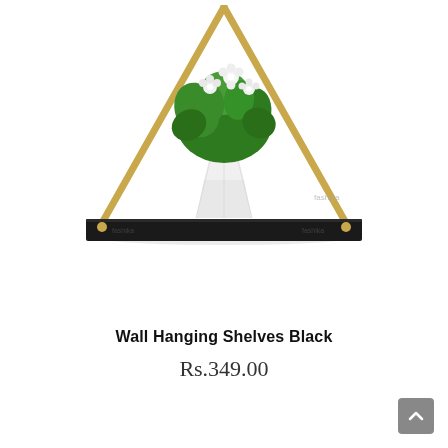[Figure (photo): A black rectangular wall hanging shelf with gold/brass colored rope supports forming a triangular frame. A green plant with white flowers in a white geometric pot sits on the shelf. The background is white.]
Wall Hanging Shelves Black
Rs.349.00